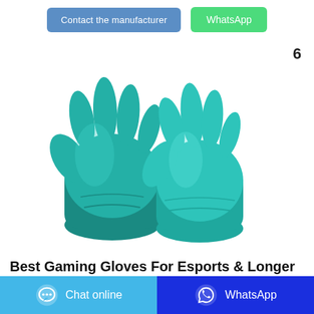[Figure (other): Two teal/green nitrile gloves displayed on white background, product image]
6
Best Gaming Gloves For Esports & Longer Gameplay - 2021